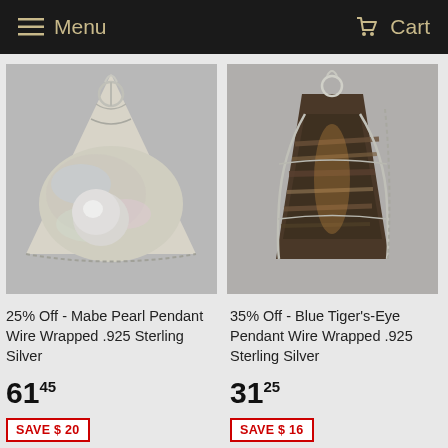Menu   Cart
[Figure (photo): Mabe Pearl Pendant Wire Wrapped in .925 Sterling Silver jewelry photo on light grey background]
[Figure (photo): Blue Tiger's-Eye Pendant Wire Wrapped in .925 Sterling Silver jewelry photo on light grey background]
25% Off - Mabe Pearl Pendant Wire Wrapped .925 Sterling Silver
35% Off - Blue Tiger's-Eye Pendant Wire Wrapped .925 Sterling Silver
6145
3125
SAVE $ 20
SAVE $ 16